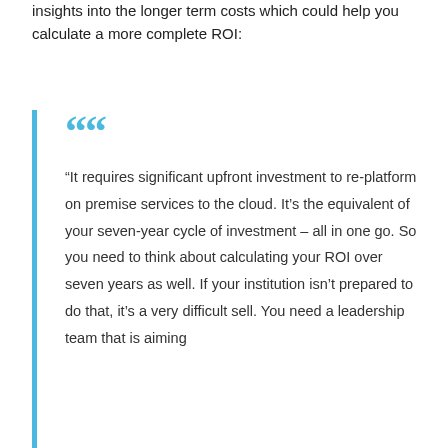insights into the longer term costs which could help you calculate a more complete ROI:
“It requires significant upfront investment to re-platform on premise services to the cloud. It’s the equivalent of your seven-year cycle of investment – all in one go. So you need to think about calculating your ROI over seven years as well. If your institution isn’t prepared to do that, it’s a very difficult sell. You need a leadership team that is aiming